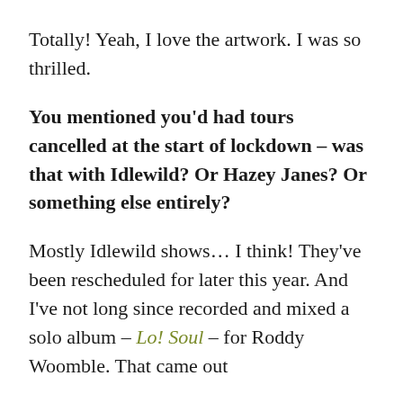Totally! Yeah, I love the artwork. I was so thrilled.
You mentioned you'd had tours cancelled at the start of lockdown – was that with Idlewild? Or Hazey Janes? Or something else entirely?
Mostly Idlewild shows… I think! They've been rescheduled for later this year. And I've not long since recorded and mixed a solo album – Lo! Soul – for Roddy Woomble. That came out